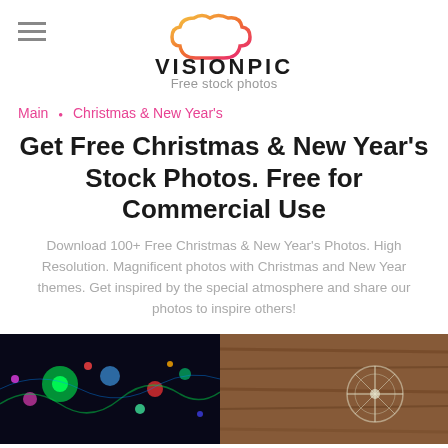[Figure (logo): VisionPic logo: cloud-shaped icon with gradient from yellow/orange to pink, above bold text VISIONPIC]
Free stock photos
Main • Christmas & New Year's
Get Free Christmas & New Year's Stock Photos. Free for Commercial Use
Download 100+ Free Christmas & New Year's Photos. High Resolution. Magnificent photos with Christmas and New Year themes. Get inspired by the special atmosphere and share our photos to inspire others!
[Figure (photo): Colorful Christmas lights (green, red, blue, pink) glowing in dark background]
[Figure (photo): Christmas ornament on rustic wooden background]